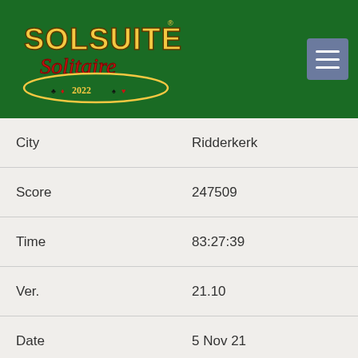[Figure (logo): SolSuite Solitaire 2022 logo on dark green background with hamburger menu icon]
| City | Ridderkerk |
| Score | 247509 |
| Time | 83:27:39 |
| Ver. | 21.10 |
| Date | 5 Nov 21 |
| N. | 16 |
| Name | Gunnar Swärd |